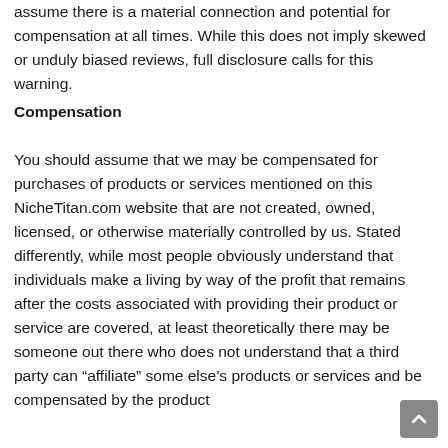assume there is a material connection and potential for compensation at all times. While this does not imply skewed or unduly biased reviews, full disclosure calls for this warning.
Compensation
You should assume that we may be compensated for purchases of products or services mentioned on this NicheTitan.com website that are not created, owned, licensed, or otherwise materially controlled by us. Stated differently, while most people obviously understand that individuals make a living by way of the profit that remains after the costs associated with providing their product or service are covered, at least theoretically there may be someone out there who does not understand that a third party can “affiliate” some else’s products or services and be compensated by the product